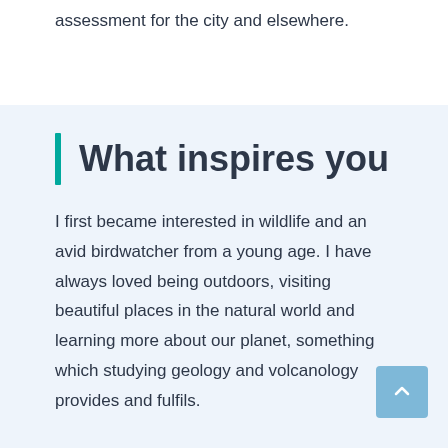assessment for the city and elsewhere.
What inspires you
I first became interested in wildlife and an avid birdwatcher from a young age. I have always loved being outdoors, visiting beautiful places in the natural world and learning more about our planet, something which studying geology and volcanology provides and fulfils.